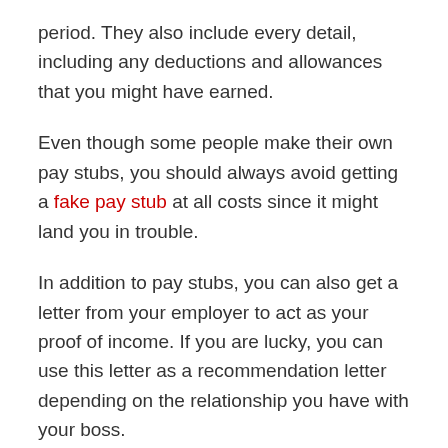period. They also include every detail, including any deductions and allowances that you might have earned.
Even though some people make their own pay stubs, you should always avoid getting a fake pay stub at all costs since it might land you in trouble.
In addition to pay stubs, you can also get a letter from your employer to act as your proof of income. If you are lucky, you can use this letter as a recommendation letter depending on the relationship you have with your boss.
Tax Documents